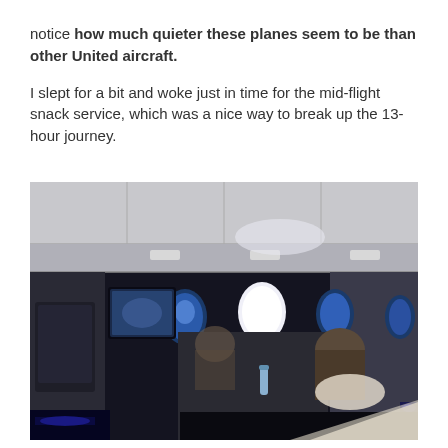notice how much quieter these planes seem to be than other United aircraft.

I slept for a bit and woke just in time for the mid-flight snack service, which was a nice way to break up the 13-hour journey.
[Figure (photo): Interior of an airplane cabin in dim lighting, showing business class seats with personal entertainment screens, oval windows with blue ambient lighting, and passengers reclining.]